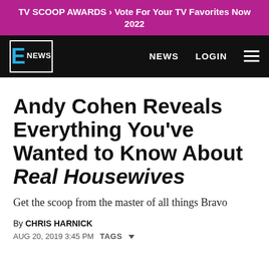TV SCOOP AWARDS > Vote For Your TV Favorites Now 2022
[Figure (logo): E! News logo on black navigation bar with NEWS and LOGIN links and hamburger menu]
Andy Cohen Reveals Everything You've Wanted to Know About Real Housewives
Get the scoop from the master of all things Bravo
By CHRIS HARNICK
AUG 20, 2019 3:45 PM   TAGS